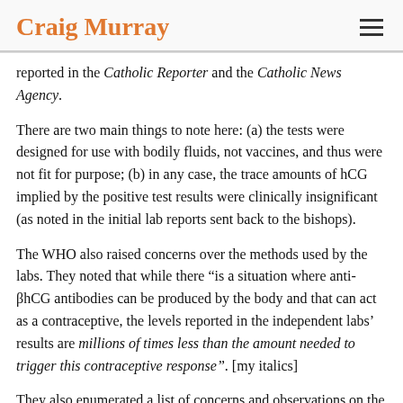Craig Murray
reported in the Catholic Reporter and the Catholic News Agency.
There are two main things to note here: (a) the tests were designed for use with bodily fluids, not vaccines, and thus were not fit for purpose; (b) in any case, the trace amounts of hCG implied by the positive test results were clinically insignificant (as noted in the initial lab reports sent back to the bishops).
The WHO also raised concerns over the methods used by the labs. They noted that while there "is a situation where anti-βhCG antibodies can be produced by the body and that can act as a contraceptive, the levels reported in the independent labs' results are millions of times less than the amount needed to trigger this contraceptive response". [my italics]
They also enumerated a list of concerns and observations on the lab results, including a lack of a control reference, blurred-out sections of the results, and their agreement with one of the lab